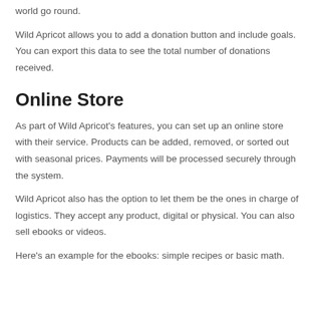world go round.
Wild Apricot allows you to add a donation button and include goals. You can export this data to see the total number of donations received.
Online Store
As part of Wild Apricot's features, you can set up an online store with their service. Products can be added, removed, or sorted out with seasonal prices. Payments will be processed securely through the system.
Wild Apricot also has the option to let them be the ones in charge of logistics. They accept any product, digital or physical. You can also sell ebooks or videos.
Here's an example for the ebooks: simple recipes or basic math.